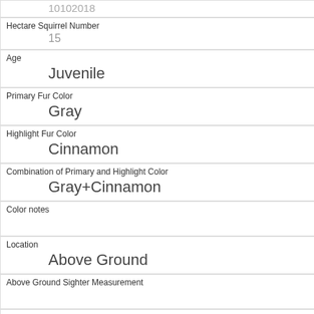10102018
Hectare Squirrel Number
15
Age
Juvenile
Primary Fur Color
Gray
Highlight Fur Color
Cinnamon
Combination of Primary and Highlight Color
Gray+Cinnamon
Color notes
Location
Above Ground
Above Ground Sighter Measurement
Specific Location
on tree
Running
0